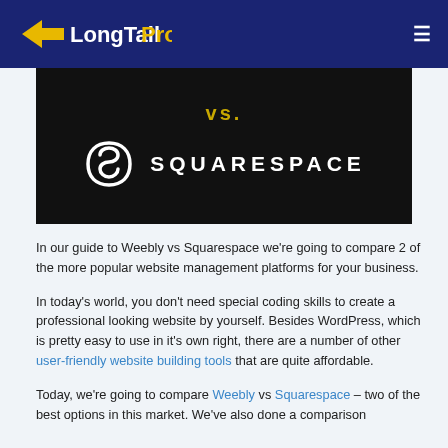LongTailPro
[Figure (logo): Squarespace logo with 'vs.' text above on dark background]
In our guide to Weebly vs Squarespace we're going to compare 2 of the more popular website management platforms for your business.
In today's world, you don't need special coding skills to create a professional looking website by yourself. Besides WordPress, which is pretty easy to use in it's own right, there are a number of other user-friendly website building tools that are quite affordable.
Today, we're going to compare Weebly vs Squarespace – two of the best options in this market. We've also done a comparison